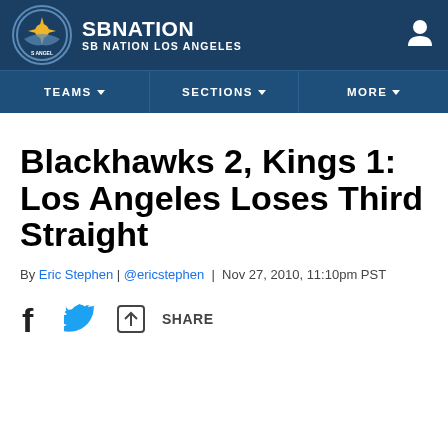[Figure (logo): SB Nation Los Angeles logo with circular team emblem and site branding in dark navy header]
SB NATION · SB NATION LOS ANGELES
TEAMS | SECTIONS | MORE
Blackhawks 2, Kings 1: Los Angeles Loses Third Straight
By Eric Stephen | @ericstephen | Nov 27, 2010, 11:10pm PST
SHARE